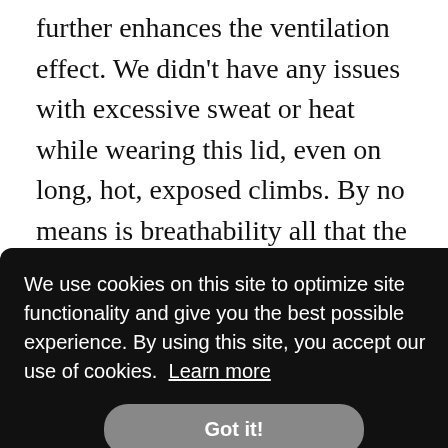further enhances the ventilation effect. We didn't have any issues with excessive sweat or heat while wearing this lid, even on long, hot, exposed climbs. By no means is breathability all that the Ambush 2 has to offer. This was one of our highest rated models across the board. A well-designed eyewear integration allows you to stow your sunglasses beneath the visor on the front of the helmet. Two small vent ports on either side of the brow have hidden rubber flaps that hold your glasses securely with no chance
[Figure (screenshot): Cookie consent overlay banner with dark background reading: 'We use cookies on this site to optimize site functionality and give you the best possible experience. By using this site, you accept our use of cookies. Learn more' with a 'Got it!' button.]
provide as much protection from the sun at lower sun angles.